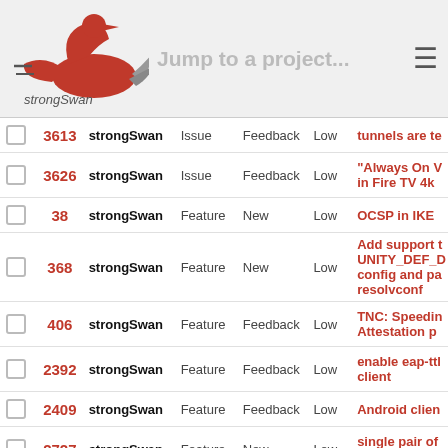strongSwan — Jump to a project...
|  | # | Project | Type | Status | Priority | Title |
| --- | --- | --- | --- | --- | --- | --- |
|  | 3613 | strongSwan | Issue | Feedback | Low | tunnels are te... |
|  | 3626 | strongSwan | Issue | Feedback | Low | "Always On V... in Fire TV 4k |
|  | 38 | strongSwan | Feature | New | Low | OCSP in IKE ... |
|  | 368 | strongSwan | Feature | New | Low | Add support t... UNITY_DEF_D... config and pa... resolvconf |
|  | 406 | strongSwan | Feature | Feedback | Low | TNC: Speedin... Attestation p... |
|  | 2392 | strongSwan | Feature | Feedback | Low | enable eap-ttl... client |
|  | 2409 | strongSwan | Feature | Feedback | Low | Android clien... |
|  | 2727 | strongSwan | Feature | New | Low | single pair of... CHILD_SA |
|  | 2823 | strongSwan | Feature | Feedback | Low | Implementing... failover |
|  | ... | strongSwan | Feature | New | Low | Srongswan d... RADIUS ... |